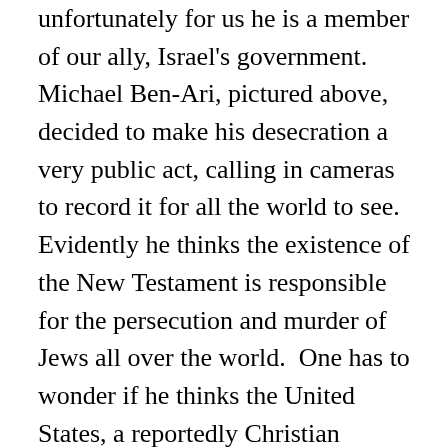unfortunately for us he is a member of our ally, Israel's government.   Michael Ben-Ari, pictured above,  decided to make his desecration a very public act, calling in cameras to record it for all the world to see.  Evidently he thinks the existence of the New Testament is responsible for the persecution and murder of Jews all over the world.  One has to wonder if he thinks the United States, a reportedly Christian country, is also responsible for the same?  What I also found enlightening was the language used by Ben-Ari in relation to the people who sent him the copy of the Bible and the followers of it.  Taking a page out of the Iranian president's reference to the state of Israel, Ben-Ari said the place of the book and its messengers is in the trash of history.  There's no doubt this Ben-Ari is so radical and